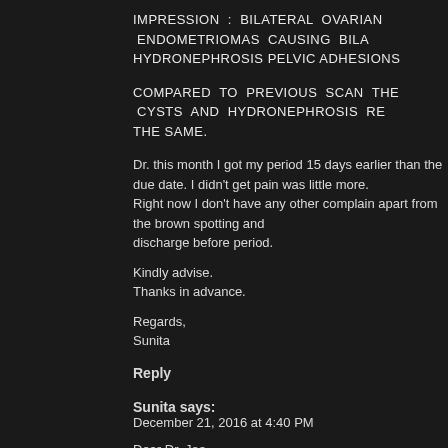IMPRESSION : BILATERAL OVARIAN ENDOMETRIOMAS CAUSING BILA... HYDRONEPHROSIS PELVIC ADHESIONS
COMPARED TO PREVIOUS SCAN THE CYSTS AND HYDRONEPHROSIS RE... THE SAME.
Dr. this month I got my period 15 days earlier than the due date. I didn't get pain was little more.
Right now I don't have any other complain apart from the brown spotting and discharge before period.
Kindly advise.
Thanks in advance.
Regards,
Sunita
Reply
Sunita says:
December 21, 2016 at 4:40 PM
Dear Dr. Joe,
I'm very sorry that by mistake I've posted two times. Since I couldn't see my fi... Please remove one of them.
Thanks.
Regards,
Sunita